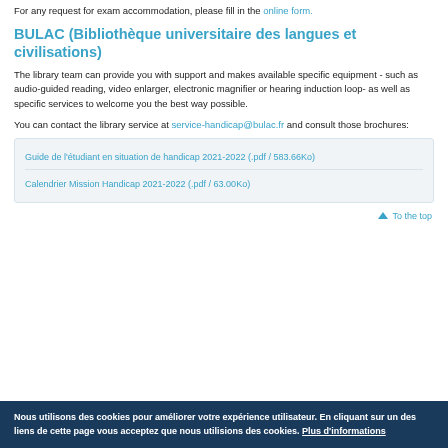For any request for exam accommodation, please fill in the online form.
BULAC (Bibliothèque universitaire des langues et civilisations)
The library team can provide you with support and makes available specific equipment - such as audio-guided reading, video enlarger, electronic magnifier or hearing induction loop- as well as specific services to welcome you the best way possible.
You can contact the library service at service-handicap@bulac.fr and consult those brochures:
Guide de l'étudiant en situation de handicap 2021-2022 (.pdf / 583.66Ko)
Calendrier Mission Handicap 2021-2022 (.pdf / 63.00Ko)
To the top
Nous utilisons des cookies pour améliorer votre expérience utilisateur. En cliquant sur un des liens de cette page vous acceptez que nous utilisions des cookies. Plus d'informations